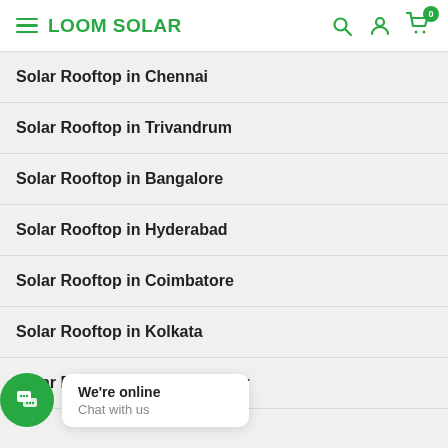LOOM SOLAR
Solar Rooftop in Chennai
Solar Rooftop in Trivandrum
Solar Rooftop in Bangalore
Solar Rooftop in Hyderabad
Solar Rooftop in Coimbatore
Solar Rooftop in Kolkata
Solar Rooftop in Bhubaneswar
Solar Rooftop in Patna
We're online
Chat with us